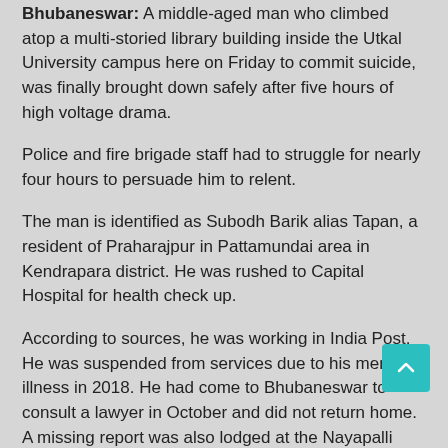Bhubaneswar: A middle-aged man who climbed atop a multi-storied library building inside the Utkal University campus here on Friday to commit suicide, was finally brought down safely after five hours of high voltage drama.
Police and fire brigade staff had to struggle for nearly four hours to persuade him to relent.
The man is identified as Subodh Barik alias Tapan, a resident of Praharajpur in Pattamundai area in Kendrapara district. He was rushed to Capital Hospital for health check up.
According to sources, he was working in India Post. He was suspended from services due to his mental illness in 2018. He had come to Bhubaneswar to consult a lawyer in October and did not return home. A missing report was also lodged at the Nayapalli police station last month.
As per reports, Subodh managed to climb atop the multi-storied Parija